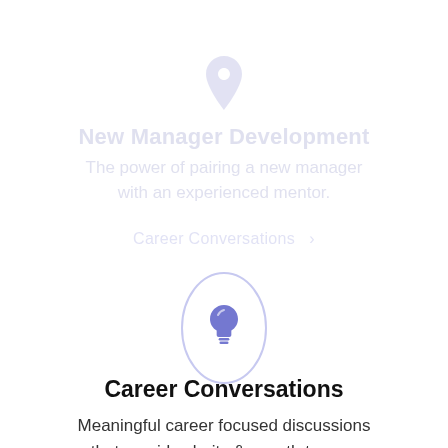[Figure (illustration): Faded pin/location icon in light purple at top center]
New Manager Development
The power of pairing a new manager with an experienced mentor.
[Figure (illustration): Faded label reading 'Career Conversations' with arrow, partially visible behind oval]
[Figure (illustration): Light bulb icon inside a vertical oval outline in light purple/blue, centered on page]
Career Conversations
Meaningful career focused discussions that provide clarity & growth to your